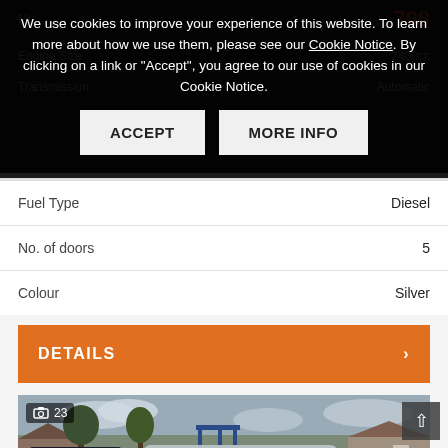We use cookies to improve your experience of this website. To learn more about how we use them, please see our Cookie Notice. By clicking on a link or "Accept", you agree to our use of cookies in our Cookie Notice.
ACCEPT
MORE INFO
|  |  |
| --- | --- |
| Engine Size | 2400cc |
| Transmission | Automatic |
| Fuel Type | Diesel |
| No. of doors | 5 |
| Colour | Silver |
DETAILS
[Figure (photo): Car dealership lot with multiple vehicles including a silver Audi estate/wagon in the foreground, dark SUV to the left, yellow car to the right, set against a cloudy sky with residential buildings in background. Image counter shows 23 photos.]